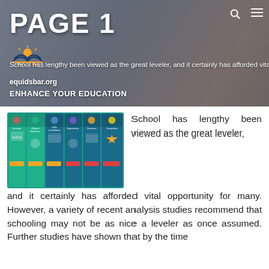PAGE 1
School has lengthy been viewed as the great leveler, and it certainly has afforded vital opportunity for many. However,
equidsbar.org
ENHANCE YOUR EDUCATION
[Figure (illustration): Six educational subject panels with icons: Formula, Physical Education, Skills and Hobbies, Experiments, Classroom, Competition on a teal background]
School has lengthy been viewed as the great leveler, and it certainly has afforded vital opportunity for many. However, a variety of recent analysis studies recommend that schooling may not be as nice a leveler as once assumed. Further studies have shown that by the time